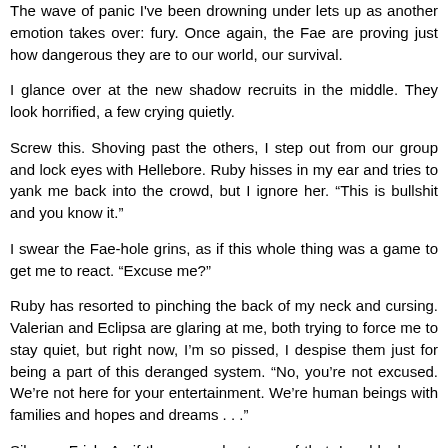The wave of panic I've been drowning under lets up as another emotion takes over: fury. Once again, the Fae are proving just how dangerous they are to our world, our survival.
I glance over at the new shadow recruits in the middle. They look horrified, a few crying quietly.
Screw this. Shoving past the others, I step out from our group and lock eyes with Hellebore. Ruby hisses in my ear and tries to yank me back into the crowd, but I ignore her. “This is bullshit and you know it.”
I swear the Fae-hole grins, as if this whole thing was a game to get me to react. “Excuse me?”
Ruby has resorted to pinching the back of my neck and cursing. Valerian and Eclipsa are glaring at me, both trying to force me to stay quiet, but right now, I’m so pissed, I despise them just for being a part of this deranged system. “No, you’re not excused. We’re not here for your entertainment. We’re human beings with families and hopes and dreams . . .”
Silence. Frick. As if they care about any of that. I suddenly see myself